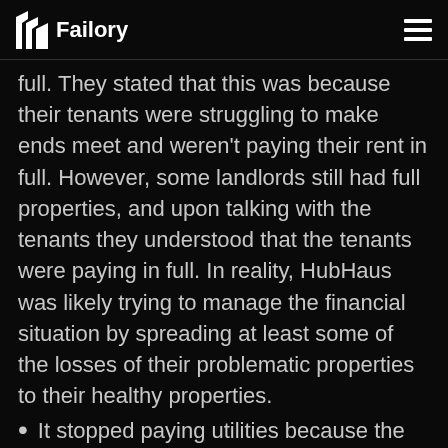Failory
full. They stated that this was because their tenants were struggling to make ends meet and weren't paying their rent in full. However, some landlords still had full properties, and upon talking with the tenants they understood that the tenants were paying in full. In reality, HubHaus was likely trying to manage the financial situation by spreading at least some of the losses of their problematic properties to their healthy properties.
It stopped paying utilities because the